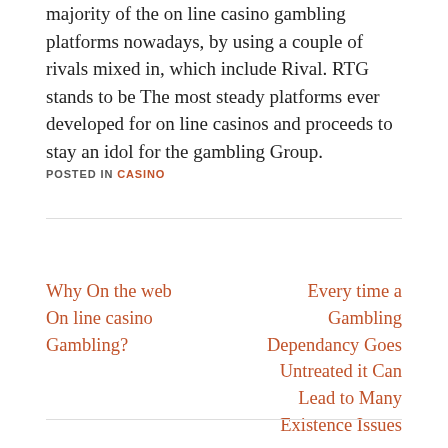majority of the on line casino gambling platforms nowadays, by using a couple of rivals mixed in, which include Rival. RTG stands to be The most steady platforms ever developed for on line casinos and proceeds to stay an idol for the gambling Group.
POSTED IN CASINO
Why On the web On line casino Gambling?
Every time a Gambling Dependancy Goes Untreated it Can Lead to Many Existence Issues